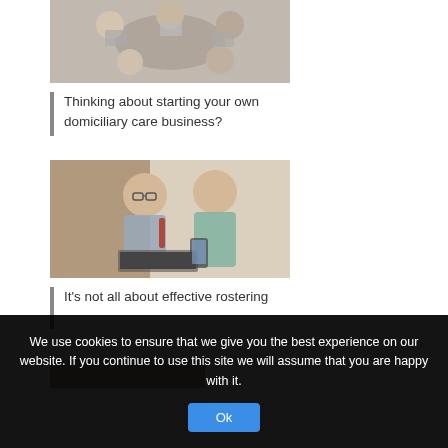[Figure (photo): Overhead view of people sitting around a table with laptops and mobile devices]
Thinking about starting your own domiciliary care business?
[Figure (photo): An older man with glasses and a younger woman looking at a smartphone together, with a laptop in front of them]
It's not all about effective rostering
[Figure (photo): Partially visible image at the bottom of the page]
We use cookies to ensure that we give you the best experience on our website. If you continue to use this site we will assume that you are happy with it.